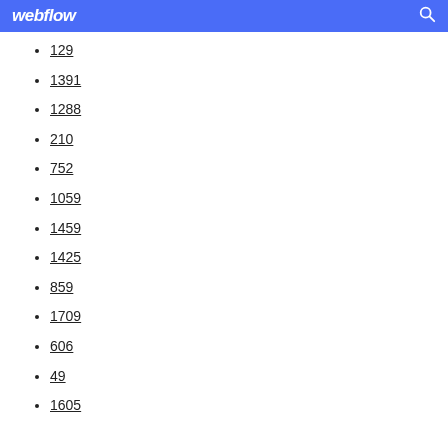webflow
129
1391
1288
210
752
1059
1459
1425
859
1709
606
49
1605